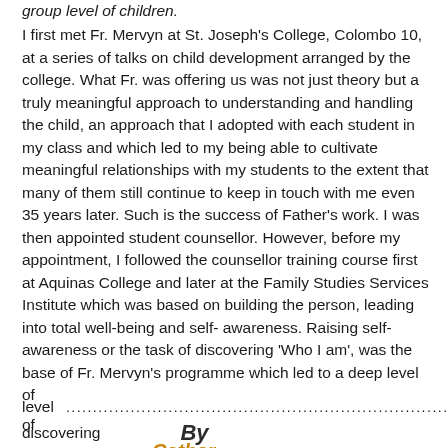group level of children.
I first met Fr. Mervyn at St. Joseph's College, Colombo 10, at a series of talks on child development arranged by the college. What Fr. was offering us was not just theory but a truly meaningful approach to understanding and handling the child, an approach that I adopted with each student in my class and which led to my being able to cultivate meaningful relationships with my students to the extent that many of them still continue to keep in touch with me even 35 years later. Such is the success of Father's work. I was then appointed student counsellor. However, before my appointment, I followed the counsellor training course first at Aquinas College and later at the Family Studies Services Institute which was based on building the person, leading into total well-being and self- awareness. Raising self-awareness or the task of discovering ‘Who I am’, was the base of Fr. Mervyn’s programme which led to a deep level of ..............................................................................discovering By